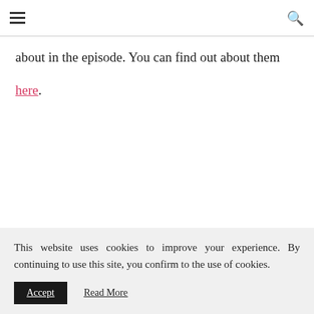≡  🔍
about in the episode. You can find out about them here.
This website uses cookies to improve your experience. By continuing to use this site, you confirm to the use of cookies.
Accept   Read More